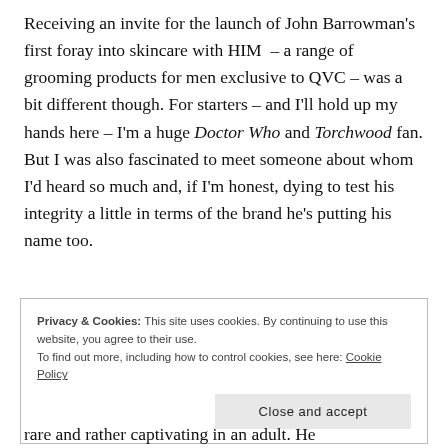Receiving an invite for the launch of John Barrowman's first foray into skincare with HIM – a range of grooming products for men exclusive to QVC – was a bit different though. For starters – and I'll hold up my hands here – I'm a huge Doctor Who and Torchwood fan. But I was also fascinated to meet someone about whom I'd heard so much and, if I'm honest, dying to test his integrity a little in terms of the brand he's putting his name too.
Privacy & Cookies: This site uses cookies. By continuing to use this website, you agree to their use.
To find out more, including how to control cookies, see here: Cookie Policy
rare and rather captivating in an adult. He